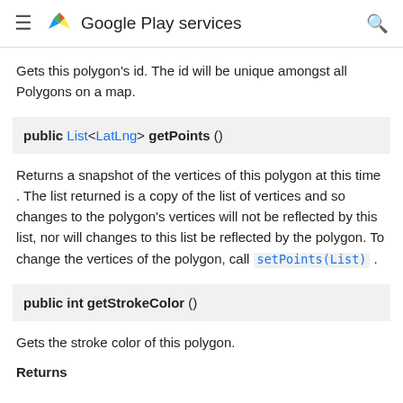Google Play services
Gets this polygon's id. The id will be unique amongst all Polygons on a map.
public List<LatLng> getPoints ()
Returns a snapshot of the vertices of this polygon at this time . The list returned is a copy of the list of vertices and so changes to the polygon's vertices will not be reflected by this list, nor will changes to this list be reflected by the polygon. To change the vertices of the polygon, call setPoints(List) .
public int getStrokeColor ()
Gets the stroke color of this polygon.
Returns